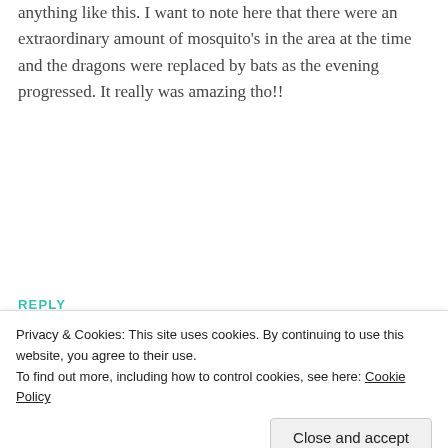anything like this. I want to note here that there were an extraordinary amount of mosquito's in the area at the time and the dragons were replaced by bats as the evening progressed. It really was amazing tho!!
REPLY
[Figure (illustration): Circular avatar icon of a cartoon red ladybug-like creature with small dots, antennae, and tiny legs, on a light circular background]
Carolyn Kampschroer
AUGUST 16, 2010 AT 5:55 AM
Privacy & Cookies: This site uses cookies. By continuing to use this website, you agree to their use.
To find out more, including how to control cookies, see here: Cookie Policy
Close and accept
also had sparrows flying among them. We live in